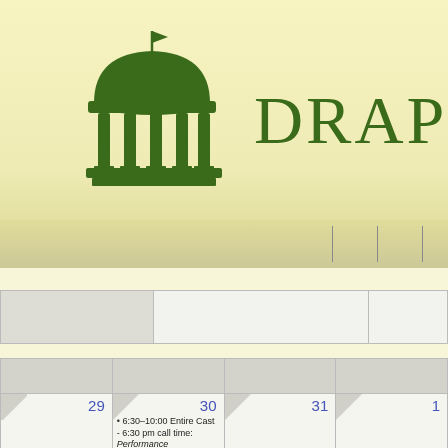[Figure (logo): Draper Arts green dome/capitol building logo with columns]
DRAPER AR
|  |  |  |
| --- | --- | --- |
|  |
|  |  |  |  |
| --- | --- | --- | --- |
| 29 | 30 | 31 | 1 |
|  | 6:30–10:00 Entire Cast - 6:30 pm call time: Performance |  |  |